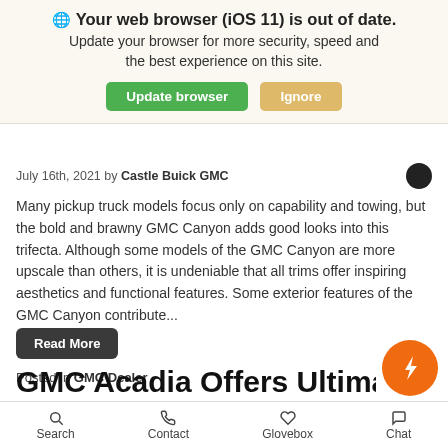🌐 Your web browser (iOS 11) is out of date. Update your browser for more security, speed and the best experience on this site. [Update browser] [Ignore]
July 16th, 2021 by Castle Buick GMC
Many pickup truck models focus only on capability and towing, but the bold and brawny GMC Canyon adds good looks into this trifecta. Although some models of the GMC Canyon are more upscale than others, it is undeniable that all trims offer inspiring aesthetics and functional features. Some exterior features of the GMC Canyon contribute...
Read More
Posted in GMC Dealer
GMC Acadia Offers Ultima
Search   Contact   Glovebox   Chat